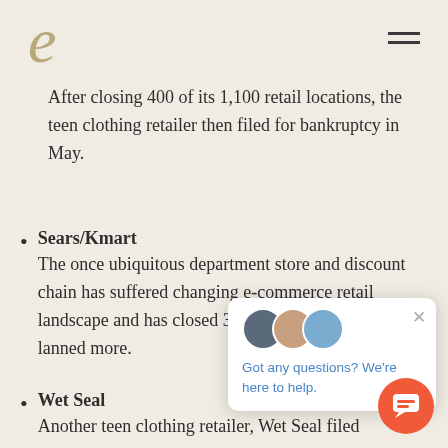e (logo)
After closing 400 of its 1,100 retail locations, the teen clothing retailer then filed for bankruptcy in May.
Sears/Kmart
The once ubiquitous department store and discount chain has suffered changing e-commerce retail landscape and has closed 35 Kmart stores and has planned more.
Wet Seal
Another teen clothing retailer, Wet Seal filed